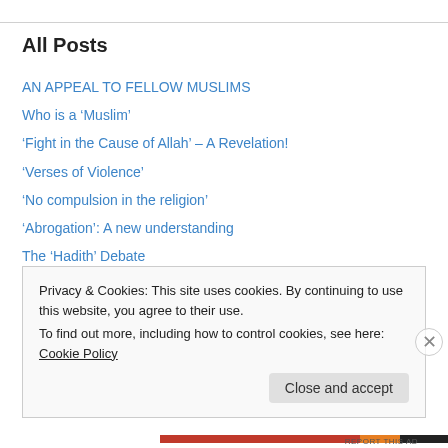All Posts
AN APPEAL TO FELLOW MUSLIMS
Who is a ‘Muslim’
‘Fight in the Cause of Allah’ – A Revelation!
‘Verses of Violence’
‘No compulsion in the religion’
‘Abrogation’: A new understanding
The ‘Hadith’ Debate
Dictators, power and the blame for Muslim strife
SyRaq
ISRAEL ‘IS REAL’, ISRAEL ‘IS A REALITY’
Privacy & Cookies: This site uses cookies. By continuing to use this website, you agree to their use.
To find out more, including how to control cookies, see here: Cookie Policy
Close and accept